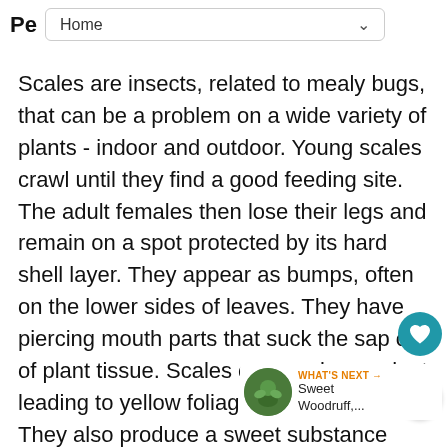Pe  Home
Scales are insects, related to mealy bugs, that can be a problem on a wide variety of plants - indoor and outdoor. Young scales crawl until they find a good feeding site. The adult females then lose their legs and remain on a spot protected by its hard shell layer. They appear as bumps, often on the lower sides of leaves. They have piercing mouth parts that suck the sap out of plant tissue. Scales can weaken a plant leading to yellow foliage and leaf drop. They also produce a sweet substance called honeydew (coveted) which can lead to an unattractive black surface fungal growth called sooty mold.